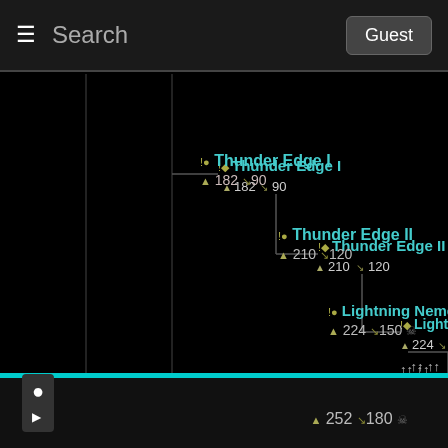Search  Guest
[Figure (organizational-chart): Game weapon upgrade tree showing Thunder Edge I (182, 90), Thunder Edge II (210, 120), Lightning Nemesis I (224, 150), and partially visible Lightning Nemesis with stats 252, 180]
252  180 (chat icon)